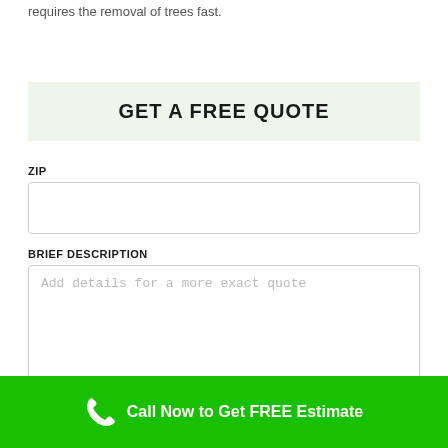requires the removal of trees fast.
GET A FREE QUOTE
ZIP
BRIEF DESCRIPTION
Add details for a more exact quote
FULL NAME
First & Last Name
Call Now to Get FREE Estimate